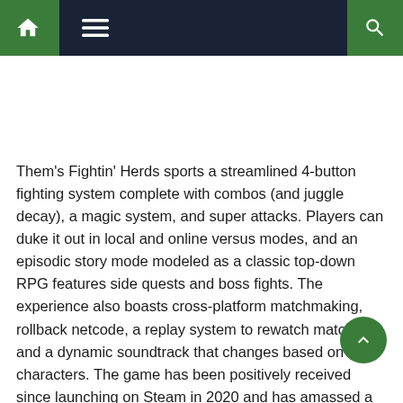Navigation bar with home, menu, and search icons
Them's Fightin' Herds sports a streamlined 4-button fighting system complete with combos (and juggle decay), a magic system, and super attacks. Players can duke it out in local and online versus modes, and an episodic story mode modeled as a classic top-down RPG features side quests and boss fights. The experience also boasts cross-platform matchmaking, rollback netcode, a replay system to rewatch matches, and a dynamic soundtrack that changes based on the characters. The game has been positively received since launching on Steam in 2020 and has amassed a dedicated following, with organized tournaments taking place at events such as EVO.